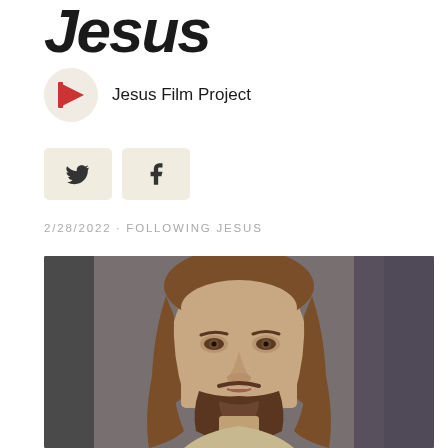Jesus
Jesus Film Project
[Figure (logo): Jesus Film Project logo — red speech bubble icon on beige circle]
[Figure (other): Twitter share button]
[Figure (other): Facebook share button]
2/28/2022 · FOLLOWING JESUS
[Figure (photo): Portrait photograph of a man portraying Jesus — long brown hair, beard, soft lighting, looking toward camera]